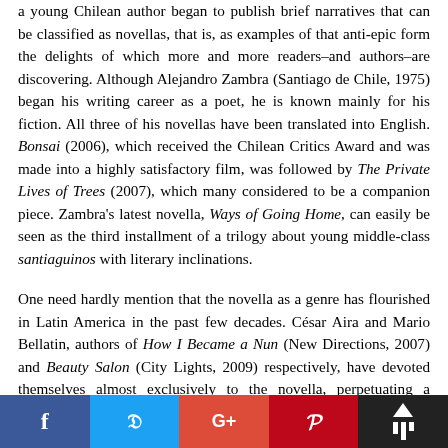a young Chilean author began to publish brief narratives that can be classified as novellas, that is, as examples of that anti-epic form the delights of which more and more readers–and authors–are discovering. Although Alejandro Zambra (Santiago de Chile, 1975) began his writing career as a poet, he is known mainly for his fiction. All three of his novellas have been translated into English. Bonsai (2006), which received the Chilean Critics Award and was made into a highly satisfactory film, was followed by The Private Lives of Trees (2007), which many considered to be a companion piece. Zambra's latest novella, Ways of Going Home, can easily be seen as the third installment of a trilogy about young middle-class santiaguinos with literary inclinations.
One need hardly mention that the novella as a genre has flourished in Latin America in the past few decades. César Aira and Mario Bellatin, authors of How I Became a Nun (New Directions, 2007) and Beauty Salon (City Lights, 2009) respectively, have devoted themselves almost exclusively to the novella, perpetuating a tradition that goes back to the...